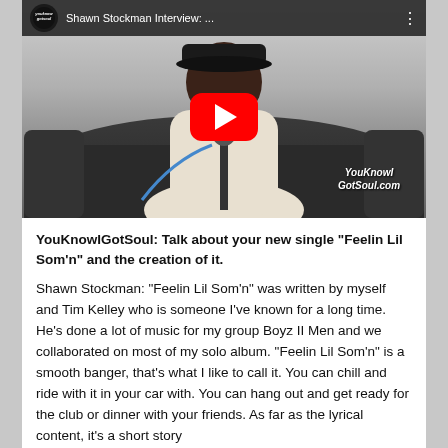[Figure (screenshot): YouTube video thumbnail showing Shawn Stockman Interview with YouKnowIGotSoul branding, red play button overlay, person seated on couch with microphone, watermark in bottom right corner]
YouKnowIGotSoul: Talk about your new single “Feelin Lil Som’n” and the creation of it.
Shawn Stockman: “Feelin Lil Som’n” was written by myself and Tim Kelley who is someone I’ve known for a long time. He’s done a lot of music for my group Boyz II Men and we collaborated on most of my solo album. “Feelin Lil Som’n” is a smooth banger, that’s what I like to call it. You can chill and ride with it in your car with. You can hang out and get ready for the club or dinner with your friends. As far as the lyrical content, it’s a short story